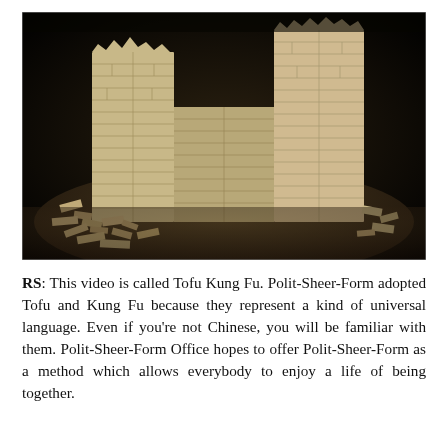[Figure (photo): A photograph of a model or sculpture of a partially ruined brick wall structure against a black background. The wall stands upright with crumbled bricks scattered at its base, illuminated dramatically against the dark backdrop.]
RS: This video is called Tofu Kung Fu. Polit-Sheer-Form adopted Tofu and Kung Fu because they represent a kind of universal language. Even if you're not Chinese, you will be familiar with them. Polit-Sheer-Form Office hopes to offer Polit-Sheer-Form as a method which allows everybody to enjoy a life of being together.